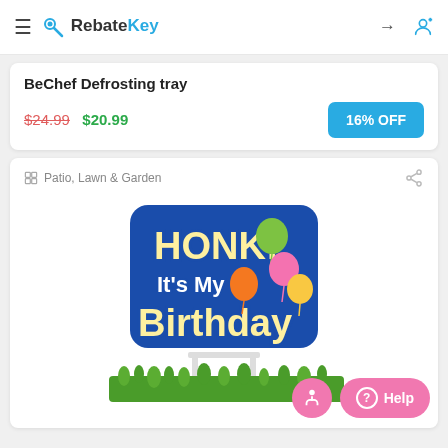RebateKey
BeChef Defrosting tray
$24.99  $20.99  16% OFF
Patio, Lawn & Garden
[Figure (photo): HONK! It's My Birthday yard sign with balloons, displayed in grass]